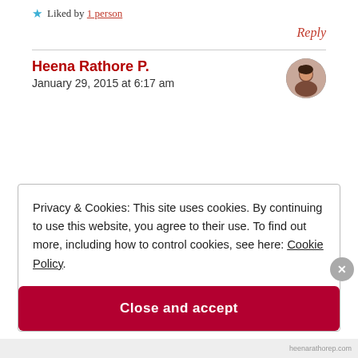★ Liked by 1 person
Reply
Heena Rathore P.
January 29, 2015 at 6:17 am
Privacy & Cookies: This site uses cookies. By continuing to use this website, you agree to their use. To find out more, including how to control cookies, see here: Cookie Policy
Close and accept